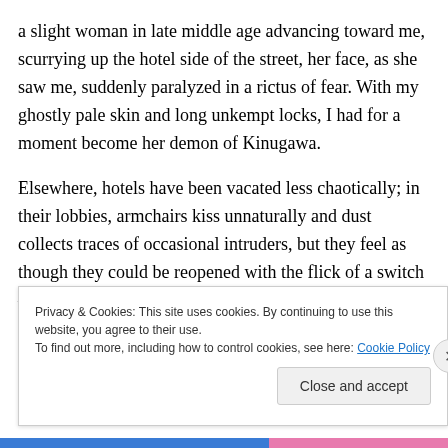a slight woman in late middle age advancing toward me, scurrying up the hotel side of the street, her face, as she saw me, suddenly paralyzed in a rictus of fear. With my ghostly pale skin and long unkempt locks, I had for a moment become her demon of Kinugawa.
Elsewhere, hotels have been vacated less chaotically; in their lobbies, armchairs kiss unnaturally and dust collects traces of occasional intruders, but they feel as though they could be reopened with the flick of a switch—although they never will be.
Privacy & Cookies: This site uses cookies. By continuing to use this website, you agree to their use.
To find out more, including how to control cookies, see here: Cookie Policy